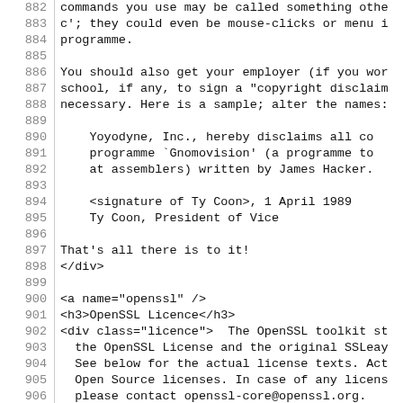882: commands you use may be called something othe
883: c'; they could even be mouse-clicks or menu i
884: programme.
885: (empty)
886: You should also get your employer (if you wor
887: school, if any, to sign a "copyright disclaim
888: necessary. Here is a sample; alter the names:
889: (empty)
890:     Yoyodyne, Inc., hereby disclaims all co
891:     programme `Gnomovision' (a programme to
892:     at assemblers) written by James Hacker.
893: (empty)
894:     <signature of Ty Coon>, 1 April 1989
895:     Ty Coon, President of Vice
896: (empty)
897: That's all there is to it!
898: </div>
899: (empty)
900: <a name="openssl" />
901: <h3>OpenSSL Licence</h3>
902: <div class="licence">  The OpenSSL toolkit st
903:   the OpenSSL License and the original SSLeay
904:   See below for the actual license texts. Act
905:   Open Source licenses. In case of any licens
906:   please contact openssl-core@openssl.org.
907: (empty)
908:   OpenSSL License
909:   ---------------
910: (empty)
911: /* ====================================